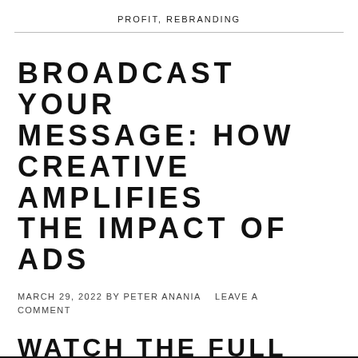PROFIT, REBRANDING
BROADCAST YOUR MESSAGE: HOW CREATIVE AMPLIFIES THE IMPACT OF ADS
MARCH 29, 2022 BY PETER ANANIA   LEAVE A COMMENT
WATCH THE FULL WEBINAR BELOW